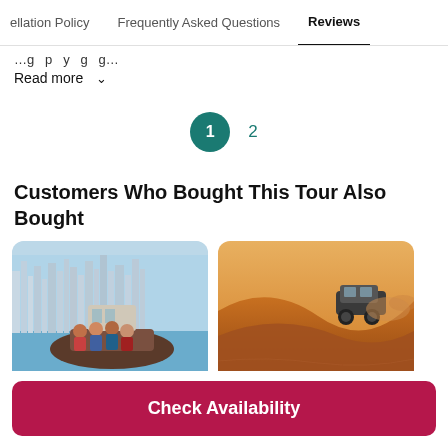cellation Policy   Frequently Asked Questions   Reviews
…g…p…y…g…g…
Read more ∨
1  2
Customers Who Bought This Tour Also Bought
[Figure (photo): Group of people on a yacht in Dubai Marina with city skyline in the background]
[Figure (photo): SUV driving over golden sand dunes in the desert]
Check Availability